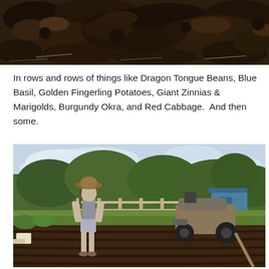[Figure (photo): Close-up photograph of dark, rich garden soil with clumps of dirt and some straw visible at the top of the frame.]
In rows and rows of things like Dragon Tongue Beans, Blue Basil, Golden Fingerling Potatoes, Giant Zinnias & Marigolds, Burgundy Okra, and Red Cabbage.  And then some.
[Figure (photo): A child wearing a wide-brimmed hat and shorts walking along freshly tilled garden rows. A riding lawn mower is parked nearby on the grass. Trees, a fence, and a blue outbuilding are visible in the background.]